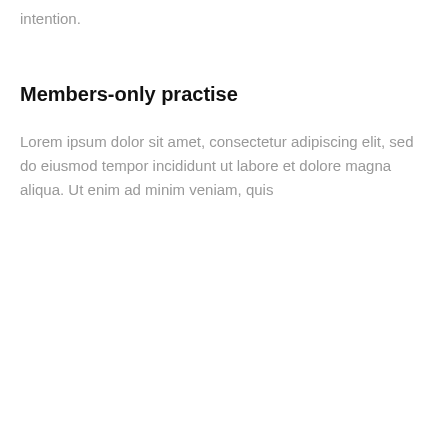intention.
Members-only practise
Lorem ipsum dolor sit amet, consectetur adipiscing elit, sed do eiusmod tempor incididunt ut labore et dolore magna aliqua. Ut enim ad minim veniam, quis